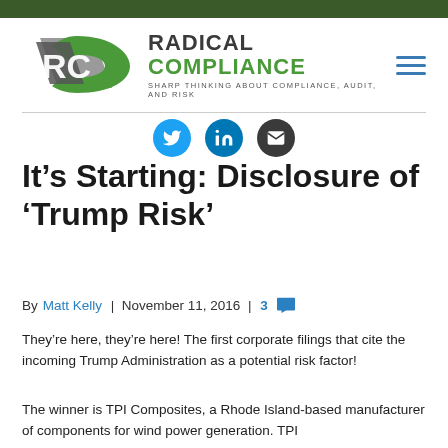Radical Compliance — Sharp Thinking About Compliance, Audit, and Risk
[Figure (logo): Radical Compliance logo with RC monogram in green and grey, and site name and tagline]
It's Starting: Disclosure of 'Trump Risk'
By Matt Kelly | November 11, 2016 | 3 comments
They're here, they're here! The first corporate filings that cite the incoming Trump Administration as a potential risk factor!
The winner is TPI Composites, a Rhode Island-based manufacturer of components for wind power generation. TPI